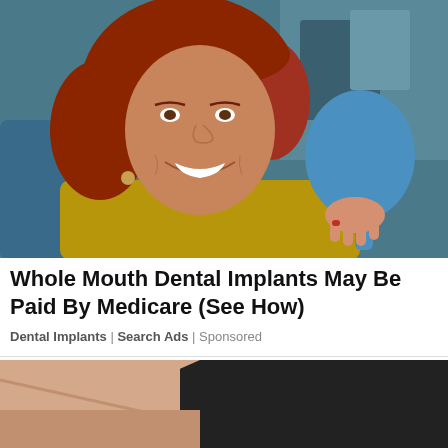[Figure (photo): A smiling red-haired woman sitting in a dental chair, holding a blue tooth-shaped mirror and looking at her teeth.]
Whole Mouth Dental Implants May Be Paid By Medicare (See How)
Dental Implants | Search Ads | Sponsored
[Figure (photo): Partial bottom photo showing a person's arm or leg and what appears to be a dark surface, cropped at the bottom of the page.]